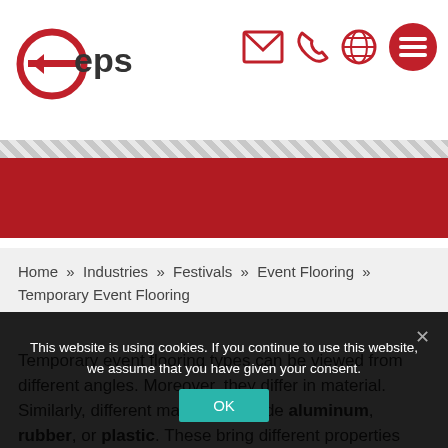eps
Home » Industries » Festivals » Event Flooring » Temporary Event Flooring
Temporary event flooring types can be viewed from different angles. Moreover, they differ in material. Similarly, different materials include aluminum, rubber, or plastic. These bring different properties and advantages. You can quickly lay down some mobile
This website is using cookies. If you continue to use this website, we assume that you have given your consent.